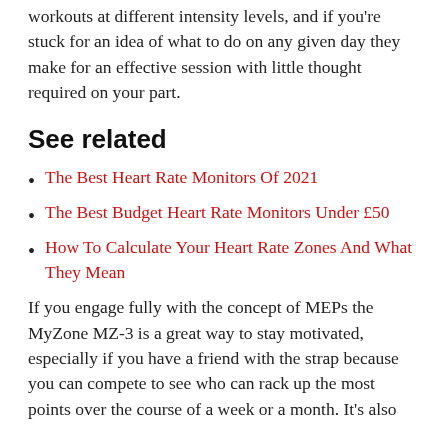workouts at different intensity levels, and if you're stuck for an idea of what to do on any given day they make for an effective session with little thought required on your part.
See related
The Best Heart Rate Monitors Of 2021
The Best Budget Heart Rate Monitors Under £50
How To Calculate Your Heart Rate Zones And What They Mean
If you engage fully with the concept of MEPs the MyZone MZ-3 is a great way to stay motivated, especially if you have a friend with the strap because you can compete to see who can rack up the most points over the course of a week or a month. It's also